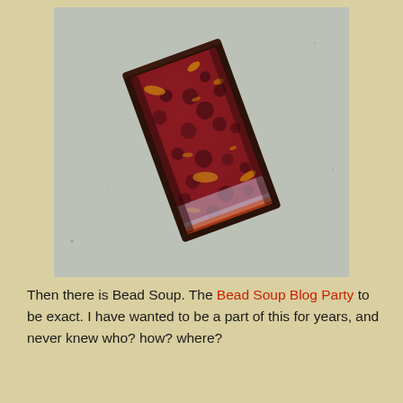[Figure (photo): Close-up photograph of a rectangular enameled copper or metal pendant/tile with a deep red, maroon, and gold speckled enamel surface, showing bubble-like texture and metallic gold flecks, sitting on a light gray textured background.]
Then there is Bead Soup. The Bead Soup Blog Party to be exact. I have wanted to be a part of this for years, and never knew who? how? where? when? This would be and the sign or an invitation. Th...